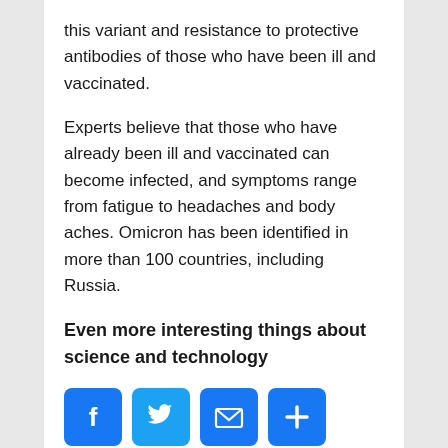this variant and resistance to protective antibodies of those who have been ill and vaccinated.
Experts believe that those who have already been ill and vaccinated can become infected, and symptoms range from fatigue to headaches and body aches. Omicron has been identified in more than 100 countries, including Russia.
Even more interesting things about science and technology
[Figure (infographic): Social media share buttons: Facebook (blue), Twitter (blue), Email (blue envelope), Plus/More (blue plus sign)]
Comments